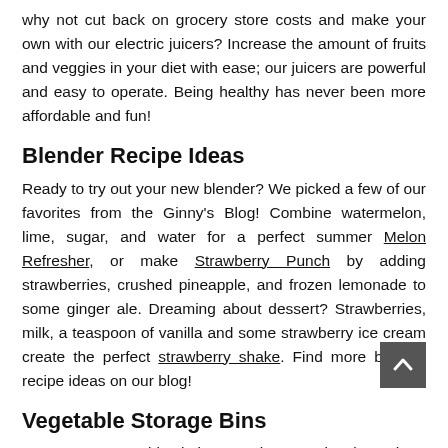why not cut back on grocery store costs and make your own with our electric juicers? Increase the amount of fruits and veggies in your diet with ease; our juicers are powerful and easy to operate. Being healthy has never been more affordable and fun!
Blender Recipe Ideas
Ready to try out your new blender? We picked a few of our favorites from the Ginny's Blog! Combine watermelon, lime, sugar, and water for a perfect summer Melon Refresher, or make Strawberry Punch by adding strawberries, crushed pineapple, and frozen lemonade to some ginger ale. Dreaming about dessert? Strawberries, milk, a teaspoon of vanilla and some strawberry ice cream create the perfect strawberry shake. Find more blender recipe ideas on our blog!
Vegetable Storage Bins
Don't store vegetables in inconvenient pantries; keep them right at your fingertips with our vegetable bins. The cute designs and colors will fit right into the kitchen, and the bins